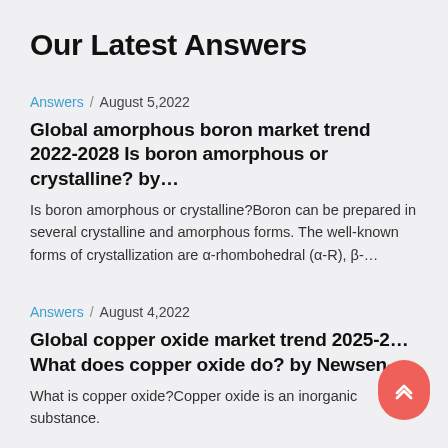Our Latest Answers
Answers / August 5,2022
Global amorphous boron market trend 2022-2028 Is boron amorphous or crystalline? by…
Is boron amorphous or crystalline?Boron can be prepared in several crystalline and amorphous forms. The well-known forms of crystallization are α-rhombohedral (α-R), β-…
Answers / August 4,2022
Global copper oxide market trend 2025-2… What does copper oxide do? by Newsen-…
What is copper oxide?Copper oxide is an inorganic substance.